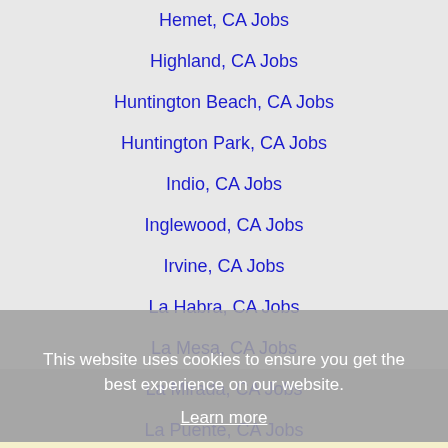Hemet, CA Jobs
Highland, CA Jobs
Huntington Beach, CA Jobs
Huntington Park, CA Jobs
Indio, CA Jobs
Inglewood, CA Jobs
Irvine, CA Jobs
La Habra, CA Jobs
La Mesa, CA Jobs
La Mirada, CA Jobs
La Puente, CA Jobs
La Quinta, CA Jobs
Laguna Beach, CA Jobs
Laguna Niguel, CA Jobs
Lake Elsinore, CA Jobs
Lake Forest, CA Jobs
Lakewood, CA Jobs
Lancaster, CA Jobs